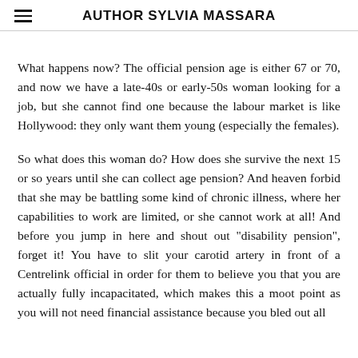AUTHOR SYLVIA MASSARA
What happens now? The official pension age is either 67 or 70, and now we have a late-40s or early-50s woman looking for a job, but she cannot find one because the labour market is like Hollywood: they only want them young (especially the females).
So what does this woman do? How does she survive the next 15 or so years until she can collect age pension? And heaven forbid that she may be battling some kind of chronic illness, where her capabilities to work are limited, or she cannot work at all! And before you jump in here and shout out "disability pension", forget it! You have to slit your carotid artery in front of a Centrelink official in order for them to believe you that you are actually fully incapacitated, which makes this a moot point as you will not need financial assistance because you bled out all